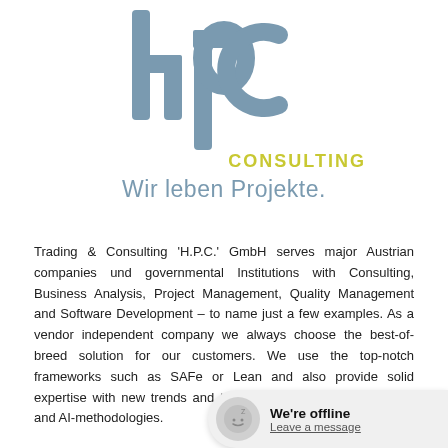[Figure (logo): HPC Consulting logo with stylized 'hpc' letters in steel blue, 'CONSULTING' in yellow-green, and tagline 'Wir leben Projekte.' in light blue]
Trading & Consulting 'H.P.C.' GmbH serves major Austrian companies und governmental Institutions with Consulting, Business Analysis, Project Management, Quality Management and Software Development – to name just a few examples. As a vendor independent company we always choose the best-of-breed solution for our customers. We use the top-notch frameworks such as SAFe or Lean and also provide solid expertise with new trends and technologies such as Blockchain and AI-methodologies.